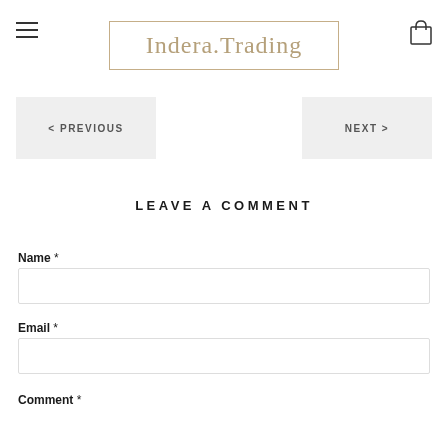Indera.Trading
< PREVIOUS
NEXT >
LEAVE A COMMENT
Name *
Email *
Comment *